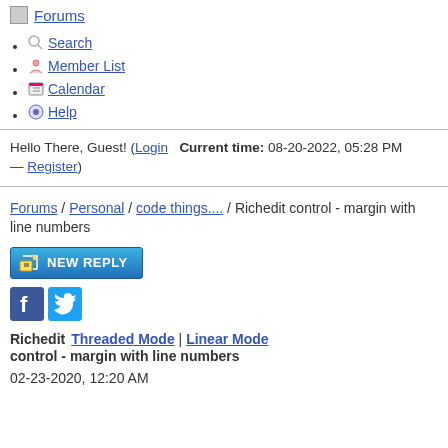Forums
Search
Member List
Calendar
Help
Hello There, Guest! (Login  Current time: 08-20-2022, 05:28 PM — Register)
Forums / Personal / code things.... / Richedit control - margin with line numbers
[Figure (other): NEW REPLY button - blue gradient button with pencil icon]
[Figure (other): Social media icons - Facebook and Twitter]
Richedit control - margin with line numbers  Threaded Mode | Linear Mode
02-23-2020, 12:20 AM